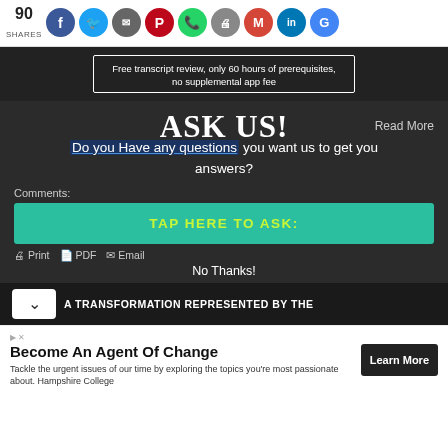90 SHARES — social share bar with Facebook, Twitter, Google+, Pinterest, WhatsApp, Print, Gmail, LinkedIn, Google
[Figure (screenshot): Dark banner with text: Free transcript review, only 60 hours of prerequisites, no supplemental app fee]
ASK US!
Read More
Do you Have any questions you want us to get you answers?
Comments:
TAP HERE TO ASK:
Print  PDF  Email
No Thanks!
A TRANSFORMATION REPRESENTED BY THE
Become An Agent Of Change
Tackle the urgent issues of our time by exploring the topics you're most passionate about. Hampshire College
Learn More